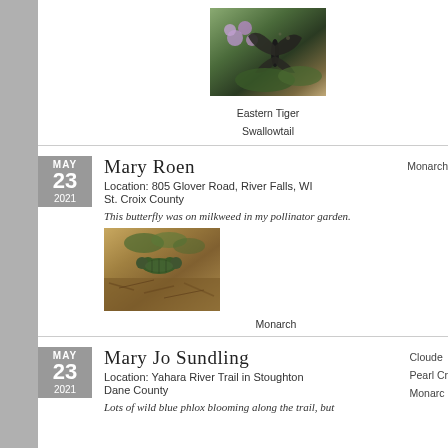[Figure (photo): Photo of a dark butterfly (Eastern Tiger Swallowtail) on purple/lavender flowers with green leaves]
Eastern Tiger Swallowtail
Mary Roen
Location: 805 Glover Road, River Falls, WI
St. Croix County
This butterfly was on milkweed in my pollinator garden.
MAY 23 2021
Monarch
[Figure (photo): Photo of a monarch butterfly caterpillar on mulch/wood chips ground]
Monarch
Mary Jo Sundling
Location: Yahara River Trail in Stoughton
Dane County
Lots of wild blue phlox blooming along the trail, but
MAY 23 2021
Clouded...
Pearl Cr...
Monarch...